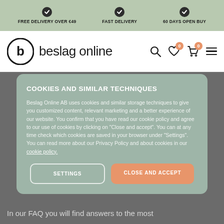FREE DELIVERY OVER €49  FAST DELIVERY  60 DAYS OPEN BUY
[Figure (logo): Beslag Online logo with circular B icon and brand name text]
COOKIES AND SIMILAR TECHNIQUES
Beslag Online AB uses cookies and similar storage techniques to give you customized content, relevant marketing and a better experience of our website. You confirm that you have read our cookie policy and agree to our use of cookies by clicking on "Close and accept". You can at any time check which cookies are saved in your browser under "Settings". You can read more about our Privacy Policy and about cookies in our cookie policy.
SETTINGS  CLOSE AND ACCEPT
In our FAQ you will find answers to the most